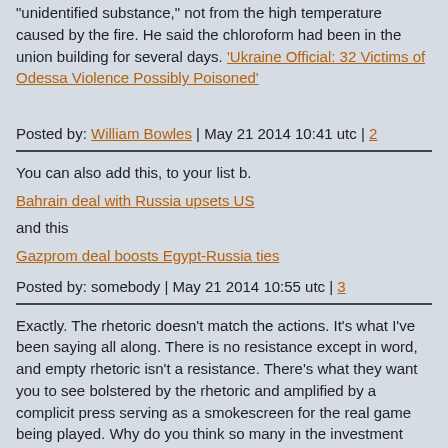"unidentified substance," not from the high temperature caused by the fire. He said the chloroform had been in the union building for several days. 'Ukraine Official: 32 Victims of Odessa Violence Possibly Poisoned'
Posted by: William Bowles | May 21 2014 10:41 utc | 2
You can also add this, to your list b.
Bahrain deal with Russia upsets US
and this
Gazprom deal boosts Egypt-Russia ties
Posted by: somebody | May 21 2014 10:55 utc | 3
Exactly. The rhetoric doesn't match the actions. It's what I've been saying all along. There is no resistance except in word, and empty rhetoric isn't a resistance. There's what they want you to see bolstered by the rhetoric and amplified by a complicit press serving as a smokescreen for the real game being played. Why do you think so many in the investment community in The West are so quick to criticize